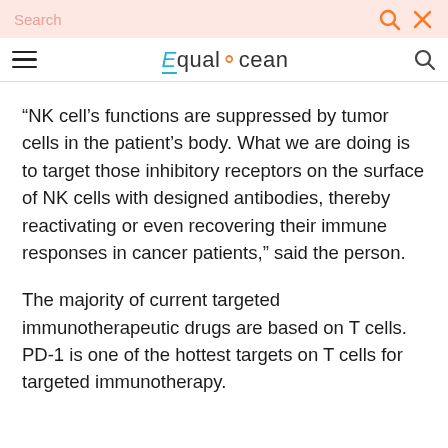Search  [search icon] [close icon]
EqualOcean [search icon]
“NK cell’s functions are suppressed by tumor cells in the patient’s body. What we are doing is to target those inhibitory receptors on the surface of NK cells with designed antibodies, thereby reactivating or even recovering their immune responses in cancer patients,” said the person.
The majority of current targeted immunotherapeutic drugs are based on T cells. PD-1 is one of the hottest targets on T cells for targeted immunotherapy.